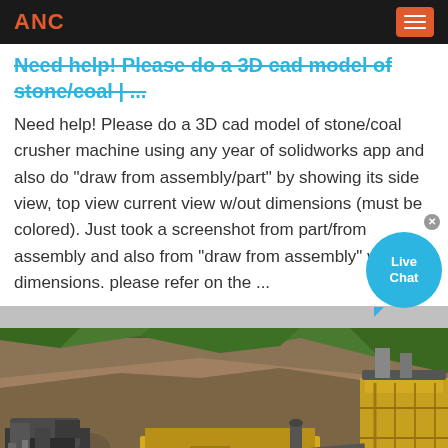ANC
Need help! Please do a 3D cad model of stone/coal | ...
Need help! Please do a 3D cad model of stone/coal crusher machine using any year of solidworks app and also do "draw from assembly/part" by showing its side view, top view current view w/out dimensions (must be colored). Just took a screenshot from part/from assembly and also from "draw from assembly" w/out dimensions. please refer on the ...
[Figure (photo): Outdoor mining/quarry site with heavy yellow and grey stone crusher machinery in the foreground, rocky earthen embankment and green vegetation in the background.]